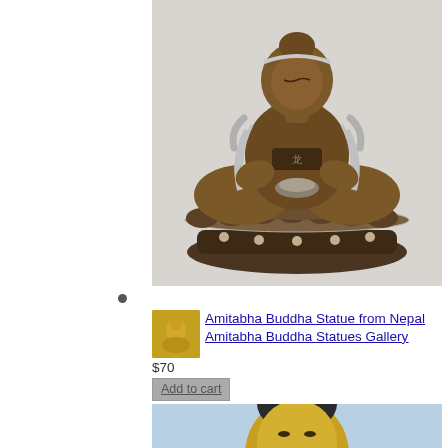[Figure (photo): Bronze Amitabha Buddha statue sitting in meditation pose on an ornate lotus base with silver filigree decorations, photographed against a light grey background]
[Figure (photo): Small thumbnail image of gold-colored Buddha figurine]
Amitabha Buddha Statue from Nepal Amitabha Buddha Statues Gallery
$70
Add to cart
[Figure (photo): Close-up of a golden Buddha head with dark curled hair/ushnisha on blue background, partially visible]